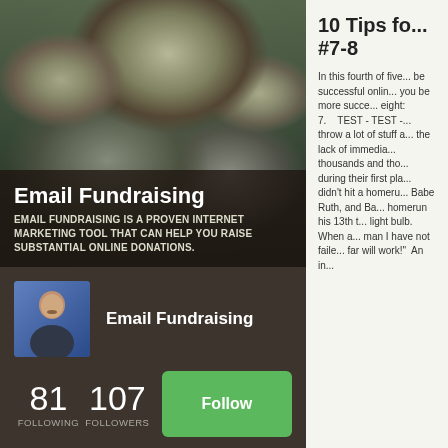[Figure (photo): Photo of rocks/boulders with lichen, used as hero image background for Email Fundraising topic]
Email Fundraising
EMAIL FUNDRAISING IS A PROVEN INTERNET MARKETING TOOL THAT CAN HELP YOU RAISE SUBSTANTIAL ONLINE DONATIONS.
[Figure (photo): Profile photo of a middle-aged man in a dark shirt against a blue background]
Email Fundraising
81 FOLLOWING
107 FOLLOWERS
Follow
10 Tips fo... #7-8
In this fourth of five... be successful onlin... you be more succe... eight:
7.    TEST - TEST -... throw a lot of stuff a... the lack of immedia... thousands and tho... during their first pla... didn't hit a homeru... Babe Ruth, and Ba... homerun his 13th t... light bulb.  When a... man I have not faile... far will work!"  An in...